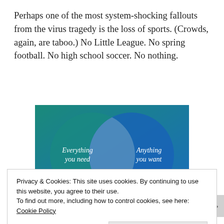Perhaps one of the most system-shocking fallouts from the virus tragedy is the loss of sports. (Crowds, again, are taboo.) No Little League. No spring football. No high school soccer. No nothing.
[Figure (infographic): Venn diagram with two overlapping circles on a teal-to-blue gradient background. Left circle labeled 'Everything you need', right circle labeled 'Anything you want'.]
Privacy & Cookies: This site uses cookies. By continuing to use this website, you agree to their use.
To find out more, including how to control cookies, see here: Cookie Policy